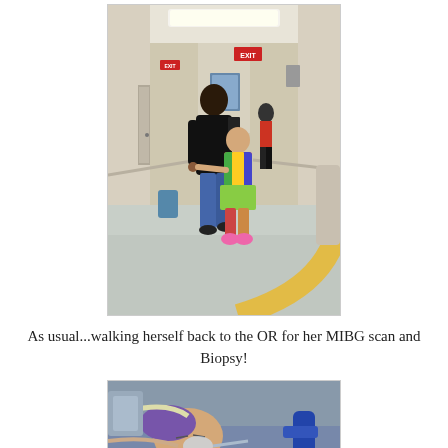[Figure (photo): Photo of a child in a colorful tie-dye outfit walking hand-in-hand with a medical professional in scrubs down a hospital corridor, viewed from behind. Another person is visible further down the hall. Hospital hallway with EXIT sign, framed artwork on walls, and a decorative yellow curve on the floor.]
As usual...walking herself back to the OR for her MIBG scan and Biopsy!
[Figure (photo): Photo of a child lying down, apparently sedated or resting on a medical table or gurney, with medical equipment visible around them including tubing and a blue device handle.]